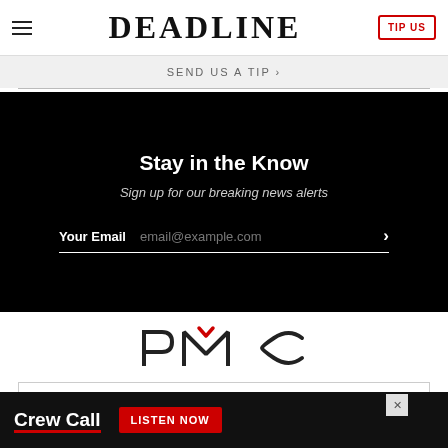DEADLINE
SEND US A TIP
Stay in the Know
Sign up for our breaking news alerts
Your Email  email@example.com
[Figure (logo): PMC logo — stylized P M C letters with a red checkmark accent above the M]
OUR SITES
VARIETY
[Figure (infographic): Advertisement banner: Crew Call — LISTEN NOW button on dark background]